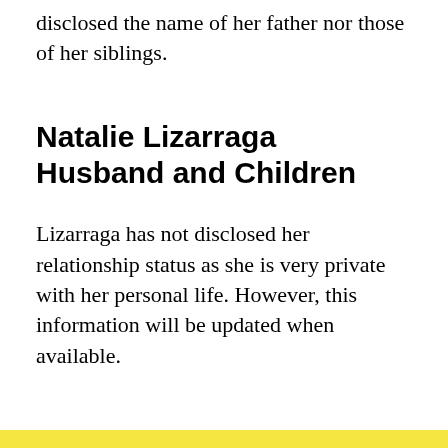disclosed the name of her father nor those of her siblings.
Natalie Lizarraga Husband and Children
Lizarraga has not disclosed her relationship status as she is very private with her personal life. However, this information will be updated when available.